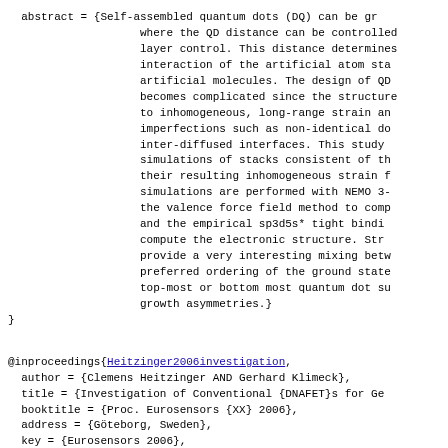abstract = {Self-assembled quantum dots (DQ) can be gr where the QD distance can be controlled layer control. This distance determines interaction of the artificial atom sta artificial molecules. The design of QD becomes complicated since the structure to inhomogeneous, long-range strain an imperfections such as non-identical do inter-diffused interfaces. This study simulations of stacks consistent of th their resulting inhomogeneous strain f simulations are performed with NEMO 3- the valence force field method to comp and the empirical sp3d5s* tight bindi compute the electronic structure. Str provide a very interesting mixing bet preferred ordering of the ground state top-most or bottom most quantum dot s growth asymmetries.}
}
@inproceedings{Heitzinger2006investigation,
  author = {Clemens Heitzinger AND Gerhard Klimeck},
  title = {Investigation of Conventional {DNAFET}s for Ge
  booktitle = {Proc. Eurosensors {XX} 2006},
  address = {Göteborg, Sweden},
  key = {Eurosensors 2006},
  volume = 1,
  pages = {448-449},
  month = sep,